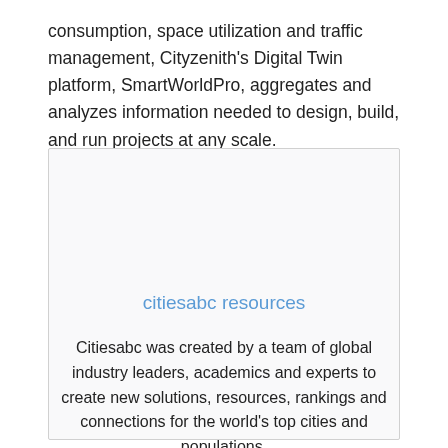consumption, space utilization and traffic management, Cityzenith's Digital Twin platform, SmartWorldPro, aggregates and analyzes information needed to design, build, and run projects at any scale.
[Figure (other): A bordered box containing the citiesabc resources section with a title and description text.]
citiesabc resources
Citiesabc was created by a team of global industry leaders, academics and experts to create new solutions, resources, rankings and connections for the world's top cities and populations.